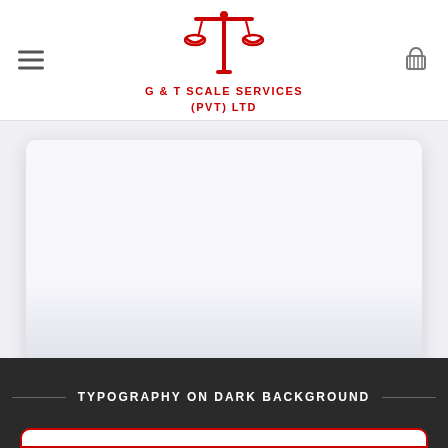[Figure (logo): G & T Scale Services (PVT) LTD logo with red balance scale icon and company name in red text]
[Figure (other): White rounded card with light gray gradient background and red bottom border accent, on a light gray section background]
TYPOGRAPHY ON DARK BACKGROUND
[Figure (other): Beginning of white rounded card with red border on dark background, partially visible at bottom of page]